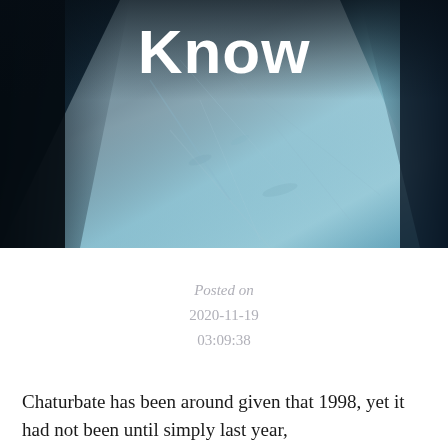[Figure (photo): Aerial or abstract photo of a snowy or icy surface with dark edges, used as a hero/header image for a blog post. Teal and dark blue tones.]
Know
Posted on
2020-11-19
03:09:38
Chaturbate has been around given that 1998, yet it had not been until simply last year,